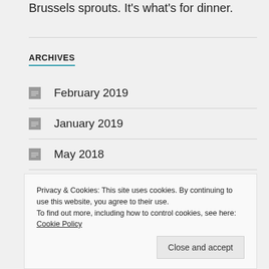Brussels sprouts. It's what's for dinner.
ARCHIVES
February 2019
January 2019
May 2018
January 2018
Privacy & Cookies: This site uses cookies. By continuing to use this website, you agree to their use. To find out more, including how to control cookies, see here: Cookie Policy
Close and accept
February 2017